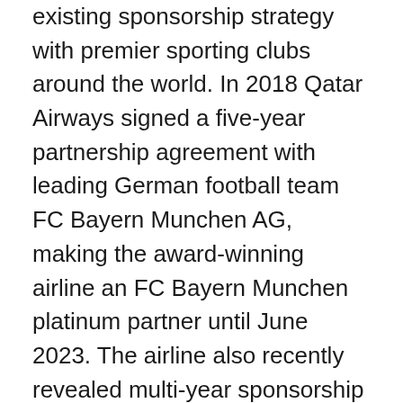existing sponsorship strategy with premier sporting clubs around the world. In 2018 Qatar Airways signed a five-year partnership agreement with leading German football team FC Bayern Munchen AG, making the award-winning airline an FC Bayern Munchen platinum partner until June 2023. The airline also recently revealed multi-year sponsorship agreements with Italian football club AS Roma, for which it will become the Official Jersey Sponsor through the 2020-21 season; and with Argentinian football club Boca Juniors, for which it will become the Official Jersey Sponsor through the 2021-22 season.
A multiple-award-winning airline, Qatar Airways was named ‘World’s Best Business Class’ by the 2018 World Airline Awards, managed by